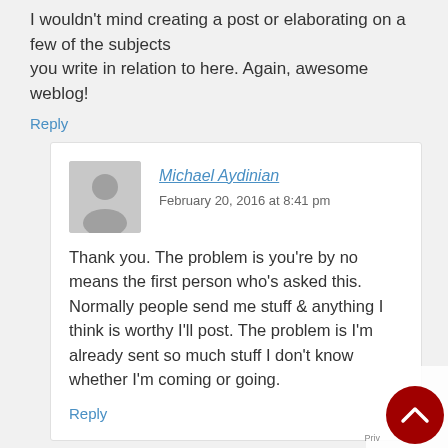I wouldn't mind creating a post or elaborating on a few of the subjects you write in relation to here. Again, awesome weblog!
Reply
Michael Aydinian
February 20, 2016 at 8:41 pm
Thank you. The problem is you're by no means the first person who's asked this. Normally people send me stuff & anything I think is worthy I'll post. The problem is I'm already sent so much stuff I don't know whether I'm coming or going.
Reply